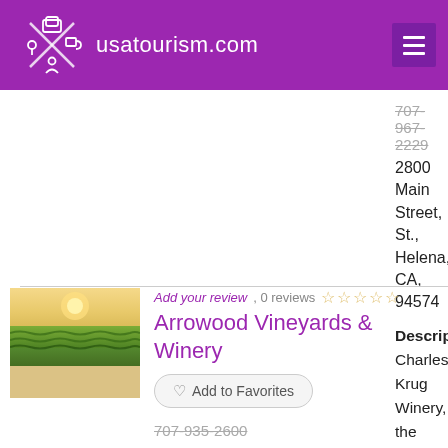usatourism.com
707-967-2229
2800 Main Street, St., Helena, CA, 94574
Description: Charles Krug Winery, the oldest winery in the Napa Valley, recently renovated its historic Redwood... Read more...
Add your review, 0 reviews
Arrowood Vineyards & Winery
Add to Favorites
707-935-2600